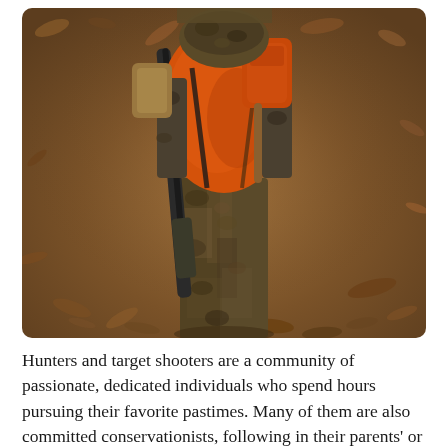[Figure (photo): A hunter in full camouflage clothing and an orange safety vest, carrying a rifle and backpack, standing on a forest floor covered in dry autumn leaves. The hunter is shown from the neck down, wearing camo pants and gear.]
Hunters and target shooters are a community of passionate, dedicated individuals who spend hours pursuing their favorite pastimes. Many of them are also committed conservationists, following in their parents' or